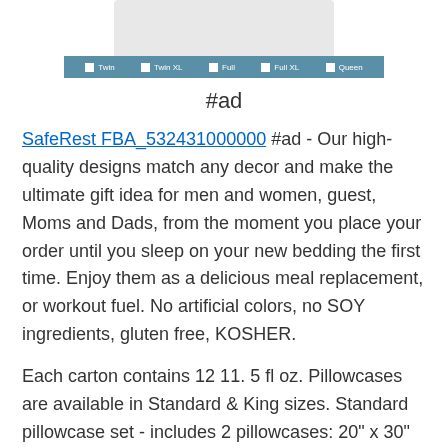[Figure (photo): Product image of a bedding/mattress protector with a size selection bar showing Twin, Twin XL, Full, Full XL, Queen options in a blue bar]
#ad
SafeRest FBA_532431000000 #ad - Our high-quality designs match any decor and make the ultimate gift idea for men and women, guest, Moms and Dads, from the moment you place your order until you sleep on your new bedding the first time. Enjoy them as a delicious meal replacement, or workout fuel. No artificial colors, no SOY ingredients, gluten free, KOSHER.
Each carton contains 12 11. 5 fl oz. Pillowcases are available in Standard & King sizes. Standard pillowcase set - includes 2 pillowcases: 20" x 30" finished size to fit standard size pillows which are 20" x 26". Easy